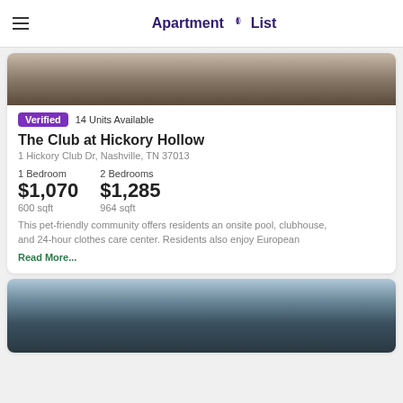Apartment List
[Figure (photo): Interior apartment photo - dark tones, bedroom or living area]
Verified   14 Units Available
The Club at Hickory Hollow
1 Hickory Club Dr, Nashville, TN 37013
1 Bedroom
$1,070
600 sqft
2 Bedrooms
$1,285
964 sqft
This pet-friendly community offers residents an onsite pool, clubhouse, and 24-hour clothes care center. Residents also enjoy European
Read More...
[Figure (photo): Exterior apartment complex photo - modern buildings with sky background]